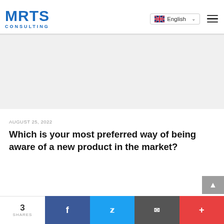[Figure (logo): MRTS Consulting logo in blue]
[Figure (screenshot): Language selector showing UK flag and English text with dropdown chevron, and hamburger menu icon]
[Figure (other): Gray advertisement or image placeholder area]
AUGUST 25, 2022
Which is your most preferred way of being aware of a new product in the market?
[Figure (other): Social share bar at bottom: 3 SHARES, Facebook, Twitter, Email, Plus buttons]